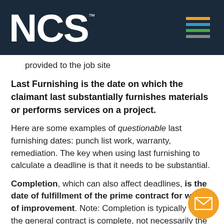NCS
provided to the job site
Last Furnishing is the date on which the claimant last substantially furnishes materials or performs services on a project.
Here are some examples of questionable last furnishing dates: punch list work, warranty, remediation. The key when using last furnishing to calculate a deadline is that it needs to be substantial.
Completion, which can also affect deadlines, is the date of fulfillment of the prime contract for work of improvement. Note: Completion is typically when the general contract is complete, not necessarily the date your contract is complete. Acceptance is an official act wh... entry is made in the government records that a public work